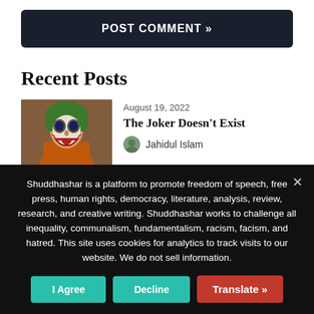POST COMMENT »
Recent Posts
[Figure (photo): Photo of the Joker character with face paint and green hair]
August 19, 2022
The Joker Doesn't Exist
Jahidul Islam
Shuddhashar is a platform to promote freedom of speech, free press, human rights, democracy, literature, analysis, review, research, and creative writing. Shuddhashar works to challenge all inequality, communalism, fundamentalism, racism, facism, and hatred. This site uses cookies for analytics to track visits to our website. We do not sell information.
I Agree
Decline
Translate »